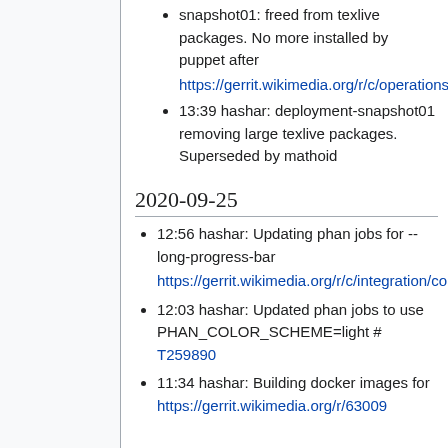snapshot01: freed from texlive packages. No more installed by puppet after https://gerrit.wikimedia.org/r/c/operations/puppet/+/540154
13:39 hashar: deployment-snapshot01 removing large texlive packages. Superseded by mathoid
2020-09-25
12:56 hashar: Updating phan jobs for --long-progress-bar https://gerrit.wikimedia.org/r/c/integration/config/+/630163
12:03 hashar: Updated phan jobs to use PHAN_COLOR_SCHEME=light # T259890
11:34 hashar: Building docker images for https://gerrit.wikimedia.org/r/63009